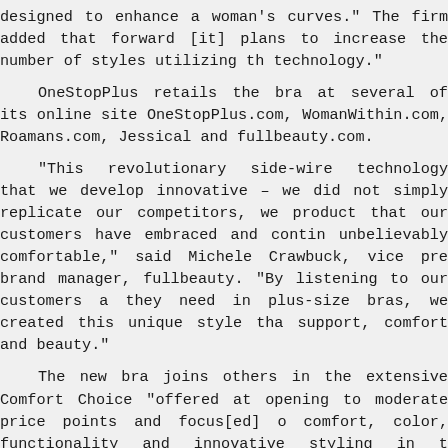designed to enhance a woman's curves." The firm added that forward [it] plans to increase the number of styles utilizing the technology."

OneStopPlus retails the bra at several of its online sites: OneStopPlus.com, WomanWithin.com, Roamans.com, Jessical and fullbeauty.com.

"This revolutionary side-wire technology that we developed is innovative – we did not simply replicate our competitors, we created a product that our customers have embraced and continue to find unbelievably comfortable," said Michele Crawbuck, vice president and brand manager, fullbeauty. "By listening to our customers and what they need in plus-size bras, we created this unique style that offers support, comfort and beauty."

The new bra joins others in the extensive Comfort Choice line "offered at opening to moderate price points and focus[ed] on comfort, color, functionality and innovative styling in the largest selection of plus sizes in the world," according to the company.

"The OneStopPlus Group offers the largest selection of extended plus size bras available anywhere, all designed to